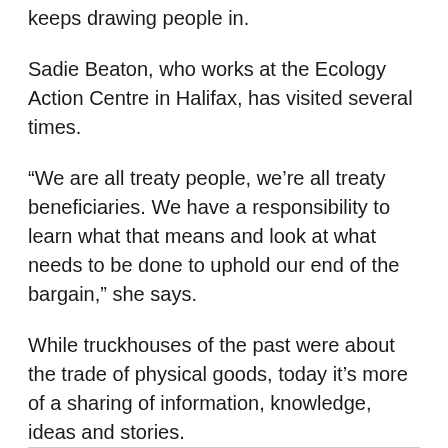keeps drawing people in.
Sadie Beaton, who works at the Ecology Action Centre in Halifax, has visited several times.
“We are all treaty people, we’re all treaty beneficiaries. We have a responsibility to learn what that means and look at what needs to be done to uphold our end of the bargain,” she says.
While truckhouses of the past were about the trade of physical goods, today it’s more of a sharing of information, knowledge, ideas and stories.